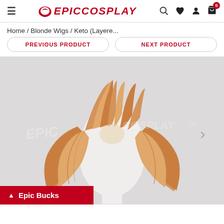EpicCosplay — navigation header with hamburger menu, logo, search, wishlist, account, and cart icons
Home / Blonde Wigs / Keto (Layere...
PREVIOUS PRODUCT
NEXT PRODUCT
[Figure (photo): A blonde/strawberry blonde cosplay wig displayed on a white mannequin head against a light grey background. The wig features layered, medium-length hair that fans outward. An EpicCosplay watermark is visible. A right-arrow navigation chevron appears on the right side.]
Epic Bucks